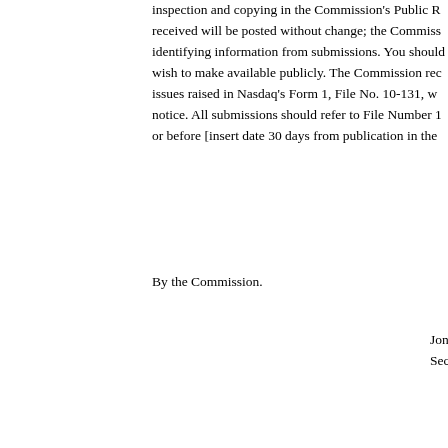inspection and copying in the Commission's Public R received will be posted without change; the Commiss identifying information from submissions. You should wish to make available publicly. The Commission rec issues raised in Nasdaq's Form 1, File No. 10-131, w notice. All submissions should refer to File Number 1 or before [insert date 30 days from publication in the
By the Commission.
Jonathan Secretary
Endnotes
1 See Letter to Robert L.D. Colby, Deputy Director, D ("Division"), SEC, from Edward S. Knight, Executive Counsel, Nasdaq, dated August 15, 2005 ("Amendm
2 15 U.S.C. 78(f).
3 See Letter to Robert L.D. Colby, Deputy Director, D Knight, Executive Vice President and General Couns 2005 ("Amendment No. 5"). In Amendment No. 5, Na errors that were submitted in Amendment No. 4.
4 Complete copies of Nasdaq's Amendment Nos. 4 a the Commission's Public Reference Room, File No. 1 as amended by Amendment Nos. 4 and 5, includ